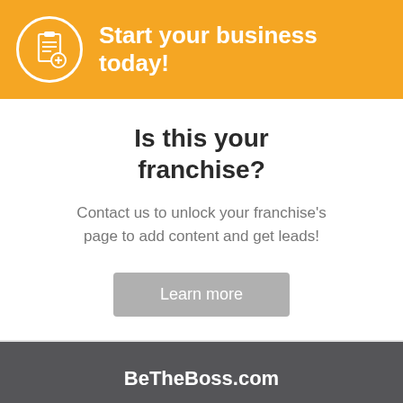Start your business today!
Is this your franchise?
Contact us to unlock your franchise's page to add content and get leads!
Learn more
BeTheBoss.com
About BeTheBoss.com
Advertise with us
Contact us